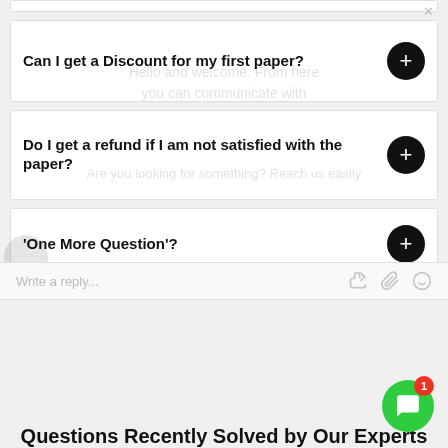Can I get a Discount for my first paper?
Do I get a refund if I am not satisfied with the paper?
'One More Question'?
Write a reply...
Questions Recently Solved by Our Experts